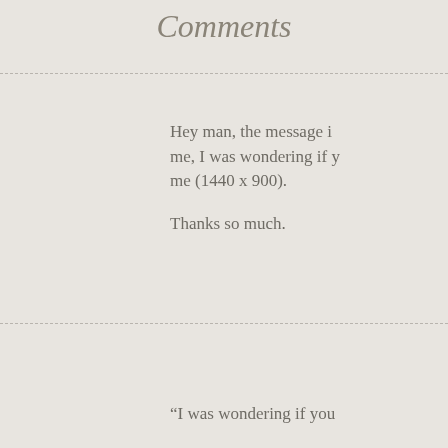Comments
Hey man, the message is me, I was wondering if y me (1440 x 900).
Thanks so much.
“I was wondering if you